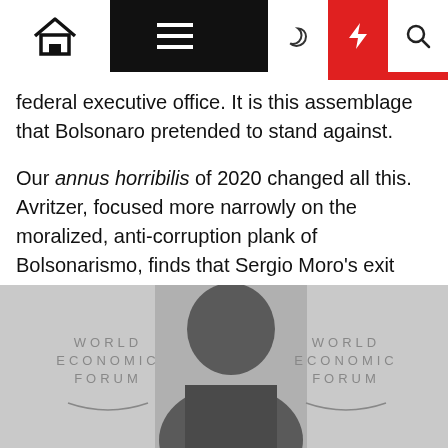Navigation bar with home, menu, dark mode, lightning, and search icons
federal executive office. It is this assemblage that Bolsonaro pretended to stand against.
Our annus horribilis of 2020 changed all this. Avritzer, focused more narrowly on the moralized, anti-corruption plank of Bolsonarismo, finds that Sergio Moro's exit from the Justice Ministry was key. The Bolsonaro government had no actual anti-corruption plan, as his supporters may have hoped (vainly, of course, as the Bolsonaro clan in Rio had been involved in routine graft for decades). Moro was there to play a legitimating role, the high priest of the berobed justiceros.
[Figure (photo): A person (Sergio Moro) at a World Economic Forum event, with WEF logos visible on both sides of a backdrop behind them.]